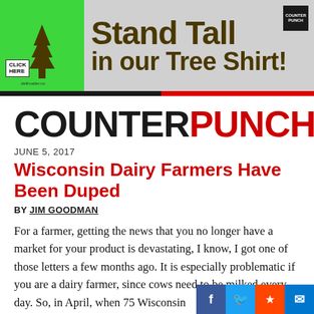[Figure (illustration): Advertisement banner for CounterPunch Tree Shirt. Green t-shirt on left with tree silhouette, text 'Stand Tall in our Tree Shirt!' in dark olive/brown bold font on gray background. CounterPunch logo top right. 'Click Here' button bottom left of shirt area.]
COUNTER PUNCH
JUNE 5, 2017
Wisconsin Dairy Farmers Have Been Duped
BY JIM GOODMAN
For a farmer, getting the news that you no longer have a market for your product is devastating, I know, I got one of those letters a few months ago. It is especially problematic if you are a dairy farmer, since cows need to be milked every day. So, in April, when 75 Wisconsin